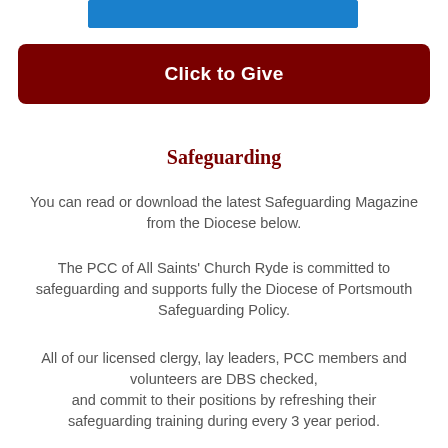[Figure (screenshot): Blue banner image at top of page]
Click to Give
Safeguarding
You can read or download the latest Safeguarding Magazine from the Diocese below.
The PCC of All Saints' Church Ryde is committed to safeguarding and supports fully the Diocese of Portsmouth Safeguarding Policy.
All of our licensed clergy, lay leaders, PCC members and volunteers are DBS checked, and commit to their positions by refreshing their safeguarding training during every 3 year period.